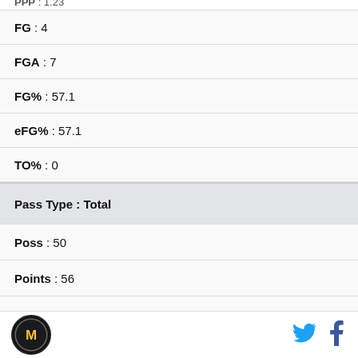| FG : 4 |
| FGA : 7 |
| FG% : 57.1 |
| eFG% : 57.1 |
| TO% : 0 |
| Pass Type : Total |
| Poss : 50 |
| Points : 56 |
| PPP : 1.12 |
| FG : 17 |
| FGA : 41 |
[Figure (logo): Circular logo with M letter mark]
[Figure (logo): Twitter bird icon]
[Figure (logo): Facebook f icon]